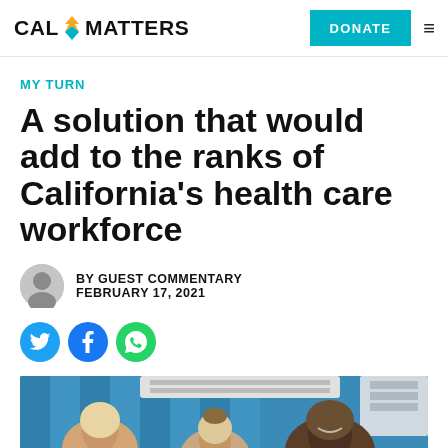CAL MATTERS | DONATE
MY TURN
A solution that would add to the ranks of California's health care workforce
BY GUEST COMMENTARY
FEBRUARY 17, 2021
[Figure (photo): Photo of people in a medical/healthcare setting with blue curtains and medical equipment overhead; a man smiling in the foreground]
[Figure (screenshot): Social sharing buttons: Twitter, Facebook, WhatsApp]